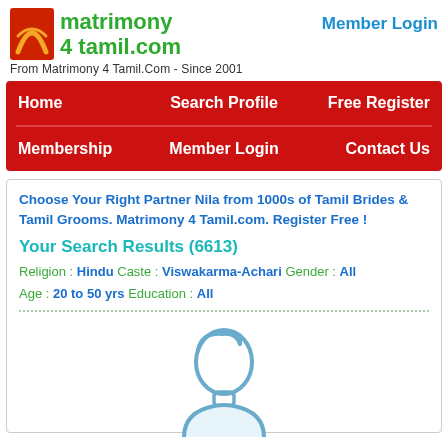[Figure (logo): Matrimony 4 Tamil.com logo with red/orange icon and green text]
Member Login
From Matrimony 4 Tamil.Com - Since 2001
Home   Search Profile   Free Register   Membership   Member Login   Contact Us
Choose Your Right Partner Nila from 1000s of Tamil Brides & Tamil Grooms. Matrimony 4 Tamil.com. Register Free !
Your Search Results (6613)
Religion : Hindu Caste : Viswakarma-Achari Gender : All Age : 20 to 50 yrs Education : All
[Figure (illustration): Generic male profile avatar placeholder in blue outline style]